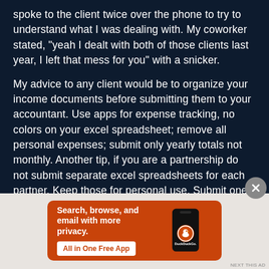spoke to the client twice over the phone to try to understand what I was dealing with. My coworker stated, "yeah I dealt with both of those clients last year, I left that mess for you" with a snicker.
My advice to any client would be to organize your income documents before submitting them to your accountant. Use apps for expense tracking, no colors on your excel spreadsheet; remove all personal expenses; submit only yearly totals not monthly. Another tip, if you are a partnership do not submit separate excel spreadsheets for each partner. Keep those for personal use. Submit one spreadsheet per business. Hire a bookkeeper.
[Figure (infographic): Orange advertisement banner for DuckDuckGo app. Left side shows bold white text: 'Search, browse, and email with more privacy.' with a white button labeled 'All in One Free App'. Right side shows a smartphone with the DuckDuckGo logo and label.]